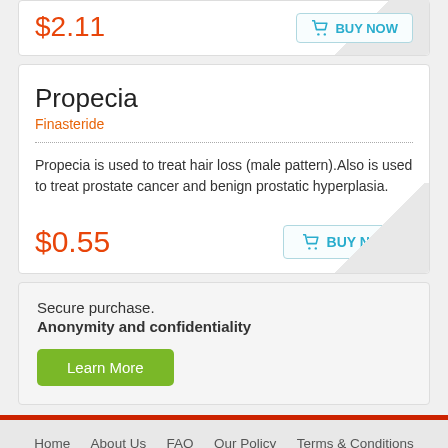$2.11
BUY NOW
Propecia
Finasteride
Propecia is used to treat hair loss (male pattern).Also is used to treat prostate cancer and benign prostatic hyperplasia.
$0.55
BUY NOW
Secure purchase.
Anonymity and confidentiality
Learn More
Home  About Us  FAQ  Our Policy  Terms & Conditions  Contact Us  Sitemap  Subscribe to the news